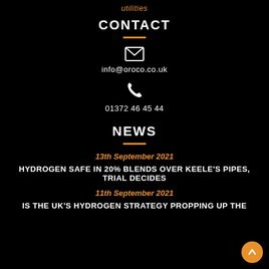utilities
CONTACT
[Figure (illustration): Email envelope icon]
info@oroco.co.uk
[Figure (illustration): Phone handset icon]
01372 46 45 44
NEWS
13th September 2021
HYDROGEN SAFE IN 20% BLENDS OVER KEELE'S PIPES, TRIAL DECIDES
11th September 2021
IS THE UK'S HYDROGEN STRATEGY PROPPING UP THE